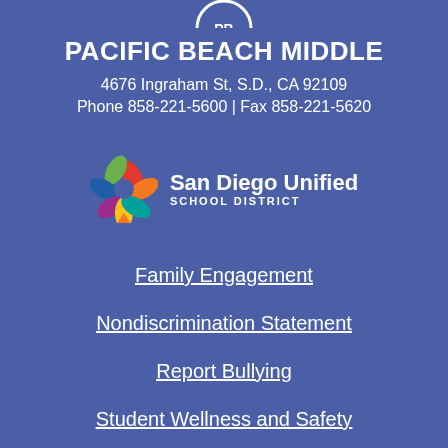[Figure (logo): Circular school logo partially visible at top of page]
PACIFIC BEACH MIDDLE
4676 Ingraham St, S.D., CA 92109
Phone 858-221-5600 | Fax 858-221-5620
[Figure (logo): San Diego Unified School District colorful star/pinwheel logo with text 'San Diego Unified SCHOOL DISTRICT']
Family Engagement
Nondiscrimination Statement
Report Bullying
Student Wellness and Safety